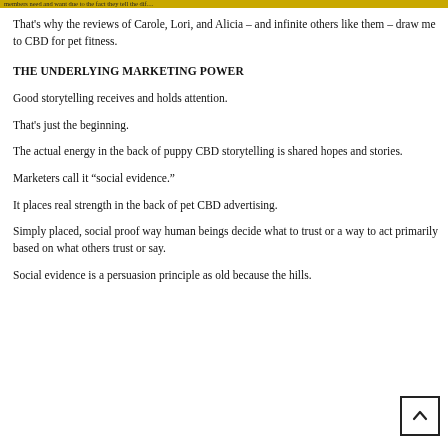members need and want due to the fact they tell the dif…
That's why the reviews of Carole, Lori, and Alicia – and infinite others like them – draw me to CBD for pet fitness.
THE UNDERLYING MARKETING POWER
Good storytelling receives and holds attention.
That's just the beginning.
The actual energy in the back of puppy CBD storytelling is shared hopes and stories.
Marketers call it “social evidence.”
It places real strength in the back of pet CBD advertising.
Simply placed, social proof way human beings decide what to trust or a way to act primarily based on what others trust or say.
Social evidence is a persuasion principle as old because the hills.